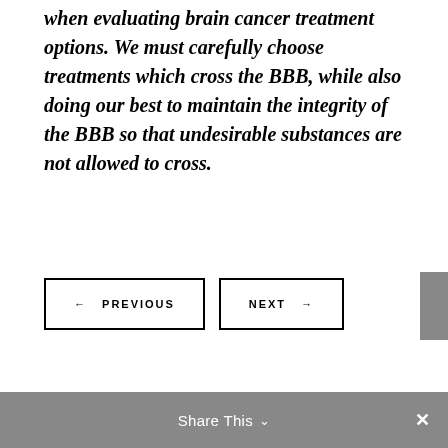a tricky obstacle to overcome when evaluating brain cancer treatment options. We must carefully choose treatments which cross the BBB, while also doing our best to maintain the integrity of the BBB so that undesirable substances are not allowed to cross.
← PREVIOUS
NEXT →
Share This ∨  ✕